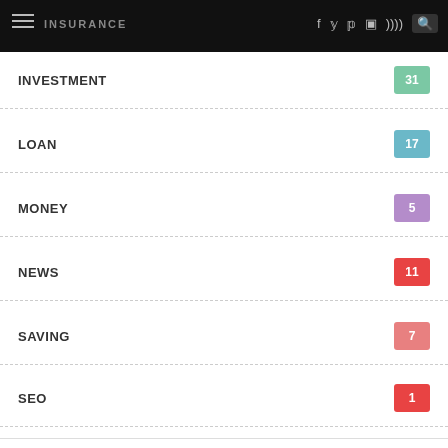INSURANCE navigation bar with hamburger menu and social icons
INVESTMENT 31
LOAN 17
MONEY 5
NEWS 11
SAVING 7
SEO 1
2022
– August (6)
What Are Key Parameters For Mutual Fund
Social share icons: Facebook, Twitter, Pinterest